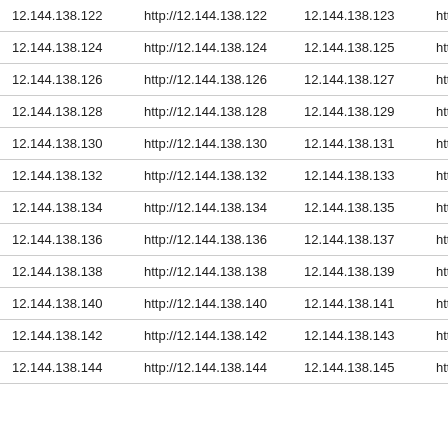| 12.144.138.122 | http://12.144.138.122 | 12.144.138.123 | http:// |
| 12.144.138.124 | http://12.144.138.124 | 12.144.138.125 | http:// |
| 12.144.138.126 | http://12.144.138.126 | 12.144.138.127 | http:// |
| 12.144.138.128 | http://12.144.138.128 | 12.144.138.129 | http:// |
| 12.144.138.130 | http://12.144.138.130 | 12.144.138.131 | http:// |
| 12.144.138.132 | http://12.144.138.132 | 12.144.138.133 | http:// |
| 12.144.138.134 | http://12.144.138.134 | 12.144.138.135 | http:// |
| 12.144.138.136 | http://12.144.138.136 | 12.144.138.137 | http:// |
| 12.144.138.138 | http://12.144.138.138 | 12.144.138.139 | http:// |
| 12.144.138.140 | http://12.144.138.140 | 12.144.138.141 | http:// |
| 12.144.138.142 | http://12.144.138.142 | 12.144.138.143 | http:// |
| 12.144.138.144 | http://12.144.138.144 | 12.144.138.145 | http:// |